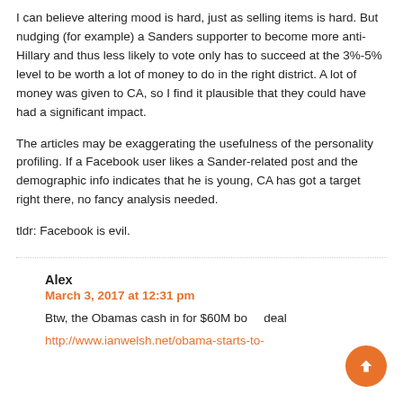I can believe altering mood is hard, just as selling items is hard. But nudging (for example) a Sanders supporter to become more anti-Hillary and thus less likely to vote only has to succeed at the 3%-5% level to be worth a lot of money to do in the right district. A lot of money was given to CA, so I find it plausible that they could have had a significant impact.
The articles may be exaggerating the usefulness of the personality profiling. If a Facebook user likes a Sander-related post and the demographic info indicates that he is young, CA has got a target right there, no fancy analysis needed.
tldr: Facebook is evil.
Alex
March 3, 2017 at 12:31 pm
Btw, the Obamas cash in for $60M bo... deal http://www.ianwelsh.net/obama-starts-to-